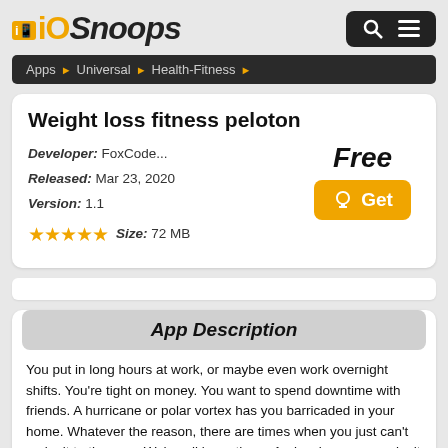iOSnoops
Apps ▶ Universal ▶ Health-Fitness ▶
Weight loss fitness peloton
Developer: FoxCode...
Released: Mar 23, 2020
Version: 1.1
Size: 72 MB
Free
Get
App Description
You put in long hours at work, or maybe even work overnight shifts. You're tight on money. You want to spend downtime with friends. A hurricane or polar vortex has you barricaded in your home. Whatever the reason, there are times when you just can't make it to the gym. We've all been there. And so long as you don't use that as an excuse to skip workouts, you're golden
There's no reason you can't build muscle, strength, and size at home. It won't take all day, either.